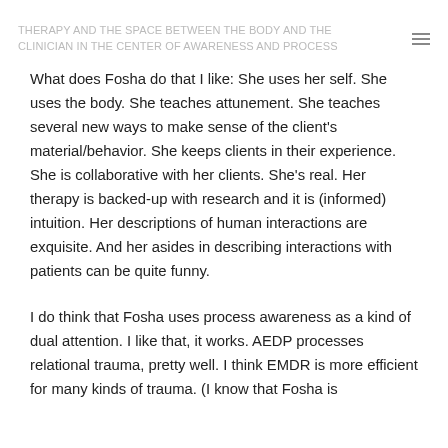therapy and the space between the body and the clinician in the center of awareness and process
What does Fosha do that I like: She uses her self. She uses the body. She teaches attunement. She teaches several new ways to make sense of the client's material/behavior. She keeps clients in their experience. She is collaborative with her clients. She's real. Her therapy is backed-up with research and it is (informed) intuition. Her descriptions of human interactions are exquisite. And her asides in describing interactions with patients can be quite funny.
I do think that Fosha uses process awareness as a kind of dual attention. I like that, it works. AEDP processes relational trauma, pretty well. I think EMDR is more efficient for many kinds of trauma. (I know that Fosha is